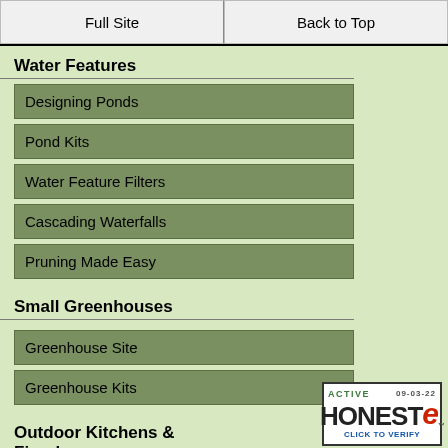Full Site | Back to Top
Water Features
Designing Ponds
Pond Kits
Water Feature Filters
Cascading Waterfalls
Pruning Made Easy
Small Greenhouses
Greenhouse Site
Greenhouse Kits
Outdoor Kitchens & Fireplaces
Outdoor Kitchens
Outdoor Kitchen Barbecue
Outdoor Gas Fireplace
[Figure (logo): Active Honeste badge with 'CLICK TO VERIFY' text, dated 09-03-22]
Outdoor Furniture